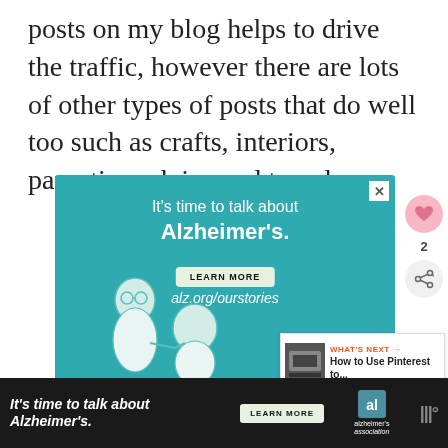posts on my blog helps to drive the traffic, however there are lots of other types of posts that do well too such as crafts, interiors, parenting advice and travel.
[Figure (illustration): Alzheimer's Association advertisement banner with teal background showing two illustrated elderly people, text 'It's time to talk about Alzheimer's.', LEARN MORE button, alz.org/ourstories URL, and Alzheimer's Association logo with 'ad' badge]
[Figure (illustration): Small 'What's Next' sidebar overlay showing 'How to Use Pinterest to...' with a photo thumbnail]
[Figure (illustration): Bottom dark banner Alzheimer's Association advertisement with text 'It's time to talk about Alzheimer's.' and LEARN MORE button]